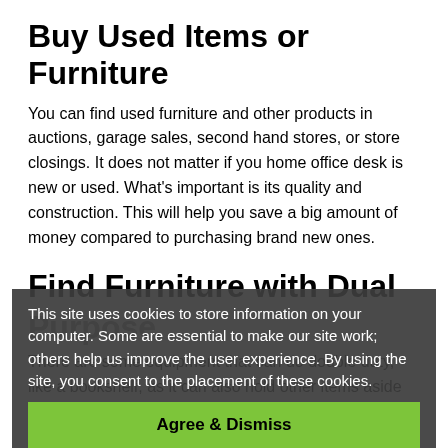Buy Used Items or Furniture
You can find used furniture and other products in auctions, garage sales, second hand stores, or store closings. It does not matter if you home office desk is new or used. What's important is its quality and construction. This will help you save a big amount of money compared to purchasing brand new ones.
Find Furniture with Dual Purpose
There are some equipment that can do double duty, like a bookshelf, as it can also hold other items aside from books. Having this kind of items will help you save money because only have to buy
This site uses cookies to store information on your computer. Some are essential to make our site work; others help us improve the user experience. By using the site, you consent to the placement of these cookies.
Agree & Dismiss